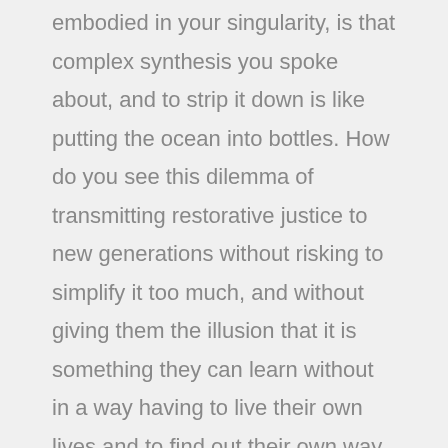embodied in your singularity, is that complex synthesis you spoke about, and to strip it down is like putting the ocean into bottles. How do you see this dilemma of transmitting restorative justice to new generations without risking to simplify it too much, and without giving them the illusion that it is something they can learn without in a way having to live their own lives and to find out their own way.